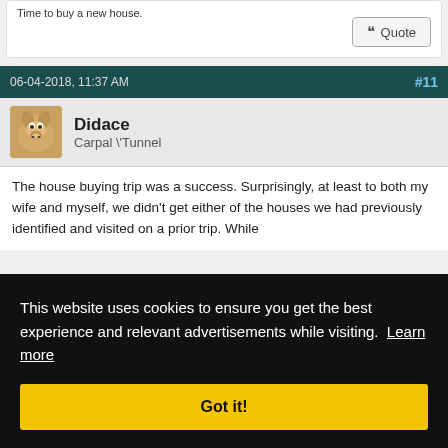Time to buy a new house.
Quote
06-04-2018, 11:37 AM   #11
Didace
Carpal \'Tunnel
The house buying trip was a success. Surprisingly, at least to both my wife and myself, we didn't get either of the houses we had previously identified and visited on a prior trip. While
a. In now nce es
Second, and this is what really tipped the scales, the
This website uses cookies to ensure you get the best experience and relevant advertisements while visiting.  Learn more
Got it!